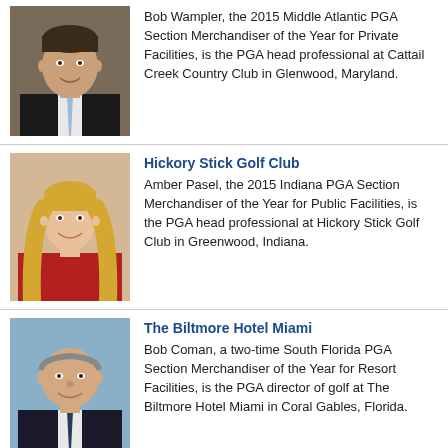[Figure (photo): Headshot of Bob Wampler, man in dark suit with light blue tie, smiling]
Bob Wampler, the 2015 Middle Atlantic PGA Section Merchandiser of the Year for Private Facilities, is the PGA head professional at Cattail Creek Country Club in Glenwood, Maryland.
[Figure (photo): Headshot of Amber Pasel, woman with long blonde hair, wearing red top, smiling]
Hickory Stick Golf Club
Amber Pasel, the 2015 Indiana PGA Section Merchandiser of the Year for Public Facilities, is the PGA head professional at Hickory Stick Golf Club in Greenwood, Indiana.
[Figure (photo): Headshot of Bob Coman, middle-aged man in dark suit, smiling]
The Biltmore Hotel Miami
Bob Coman, a two-time South Florida PGA Section Merchandiser of the Year for Resort Facilities, is the PGA director of golf at The Biltmore Hotel Miami in Coral Gables, Florida.